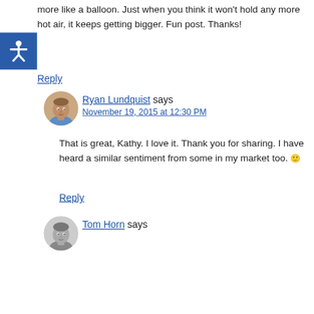more like a balloon. Just when you think it won't hold any more hot air, it keeps getting bigger. Fun post. Thanks!
Reply
[Figure (illustration): Accessibility icon button — blue square with white wheelchair symbol]
[Figure (photo): Profile photo of Ryan Lundquist — man in blue shirt]
Ryan Lundquist says
November 19, 2015 at 12:30 PM
That is great, Kathy. I love it. Thank you for sharing. I have heard a similar sentiment from some in my market too. 🙂
Reply
[Figure (photo): Profile photo of Tom Horn — grayscale photo of a man]
Tom Horn says
November 20, 2015 at 3:51 PM